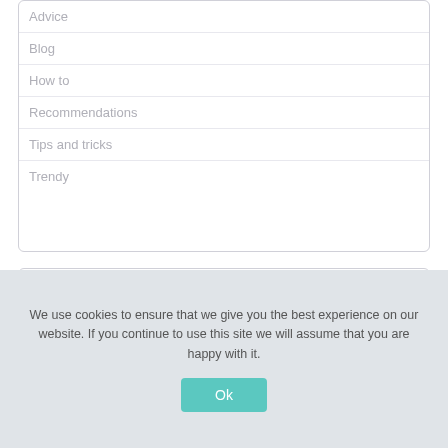Advice
Blog
How to
Recommendations
Tips and tricks
Trendy
We use cookies to ensure that we give you the best experience on our website. If you continue to use this site we will assume that you are happy with it.
Ok